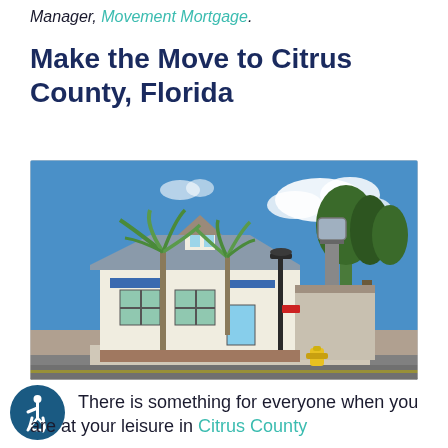Manager, Movement Mortgage.
Make the Move to Citrus County, Florida
[Figure (photo): Street-level photograph of a small white commercial building with a blue roof section, palm trees, a water tower, a black lamp post, and a fire hydrant in the foreground, under a bright blue sky with white clouds. Appears to be a small town downtown area, possibly Citrus County, Florida.]
There is something for everyone when you are at your leisure in Citrus County